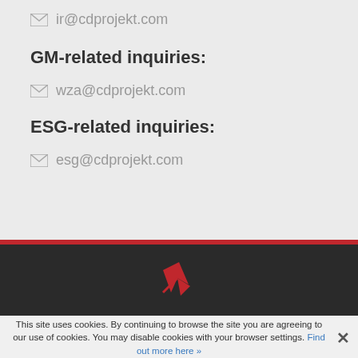ir@cdprojekt.com
GM-related inquiries:
wza@cdprojekt.com
ESG-related inquiries:
esg@cdprojekt.com
[Figure (logo): CD Projekt red logo on dark background]
This site uses cookies. By continuing to browse the site you are agreeing to our use of cookies. You may disable cookies with your browser settings. Find out more here »